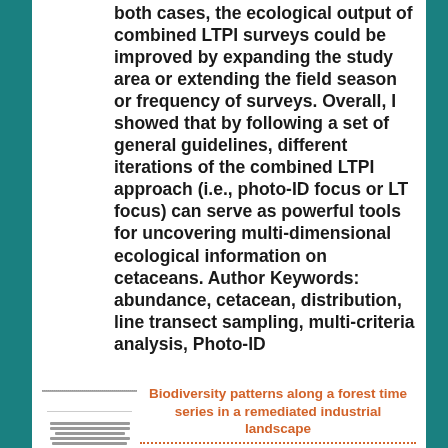both cases, the ecological output of combined LTPI surveys could be improved by expanding the study area or extending the field season or frequency of surveys. Overall, I showed that by following a set of general guidelines, different iterations of the combined LTPI approach (i.e., photo-ID focus or LT focus) can serve as powerful tools for uncovering multi-dimensional ecological information on cetaceans. Author Keywords: abundance, cetacean, distribution, line transect sampling, multi-criteria analysis, Photo-ID
[Figure (other): Small thumbnail preview of a document/paper]
Biodiversity patterns along a forest time series in a remediated industrial landscape
Sudbury, Ontario is an epicenter of research on industrially degraded landscapes.